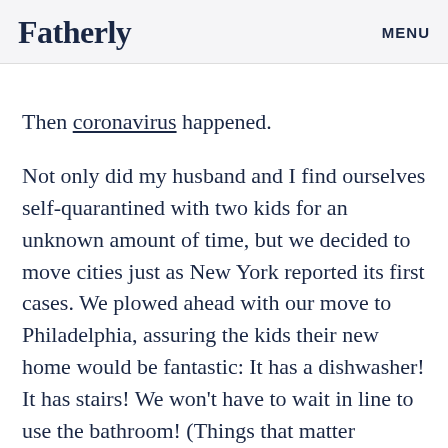Fatherly   MENU
Then coronavirus happened.
Not only did my husband and I find ourselves self-quarantined with two kids for an unknown amount of time, but we decided to move cities just as New York reported its first cases. We plowed ahead with our move to Philadelphia, assuring the kids their new home would be fantastic: It has a dishwasher! It has stairs! We won't have to wait in line to use the bathroom! (Things that matter enormously to grown humans and zero to young ones.)
During these last few weeks, I've watched my son